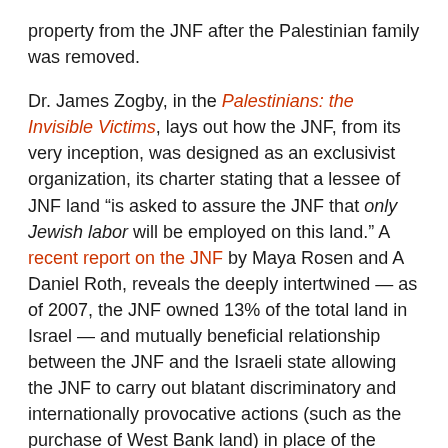property from the JNF after the Palestinian family was removed.
Dr. James Zogby, in the Palestinians: the Invisible Victims, lays out how the JNF, from its very inception, was designed as an exclusivist organization, its charter stating that a lessee of JNF land “is asked to assure the JNF that only Jewish labor will be employed on this land.” A recent report on the JNF by Maya Rosen and A Daniel Roth, reveals the deeply intertwined — as of 2007, the JNF owned 13% of the total land in Israel — and mutually beneficial relationship between the JNF and the Israeli state allowing the JNF to carry out blatant discriminatory and internationally provocative actions (such as the purchase of West Bank land) in place of the state.
Up until now, peace activists have focused their attention on halting settlement expansion in the West Bank and expulsions in East Jerusalem. It appears that is not enough. To reach the goal